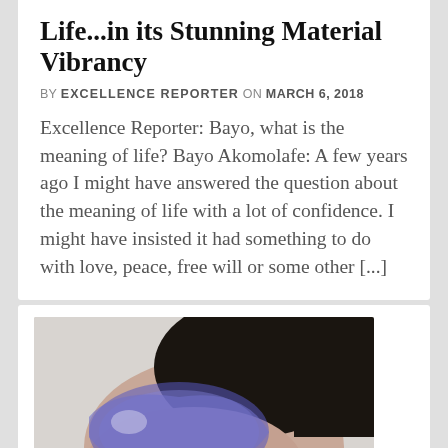Life...in its Stunning Material Vibrancy
BY EXCELLENCE REPORTER ON MARCH 6, 2018
Excellence Reporter: Bayo, what is the meaning of life? Bayo Akomolafe: A few years ago I might have answered the question about the meaning of life with a lot of confidence. I might have insisted it had something to do with love, peace, free will or some other [...]
[Figure (photo): A person wearing large blue-purple glasses, photographed from below, with dark hair visible. The photo is partially cropped.]